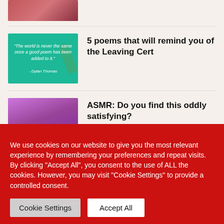[Figure (photo): Partial thumbnail at top, pink/berry colored foods]
[Figure (photo): Teal/green background with white italic quote text about poems by Dylan Thomas, with a feather graphic]
5 poems that will remind you of the Leaving Cert
[Figure (photo): Purple kinetic sand cubes pile]
ASMR: Do you find this oddly satisfying?
[Figure (photo): Dark/black thumbnail for Portraits of Dublin episode]
Portraits of Dublin Ep 1: Pharmacist By
We use cookies on our website to give you the most relevant experience by remembering your preferences and repeat visits. By clicking "Accept All", you consent to the use of ALL the cookies. However, you may visit "Cookie Settings" to provide a controlled consent.
Cookie Settings
Accept All